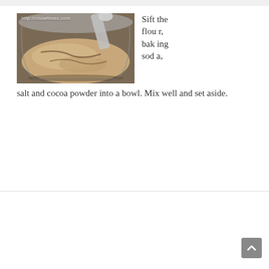[Figure (photo): A metal bowl containing mixed dry ingredients including flour, baking soda, salt and cocoa powder, with a metal scoop visible. Watermark: http://chowtimes.com]
Sift the flour, baking soda, salt and cocoa powder into a bowl. Mix well and set aside.
[Figure (photo): A metal mixing bowl with a whisk mixing a light-colored liquid batter. Watermark: http://chowtimes.com]
In another mixing bo